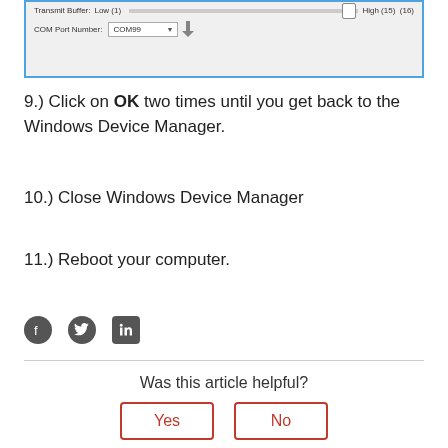[Figure (screenshot): Windows dialog showing Transmit Buffer slider set to Low(1) with High(16) label and COM Port Number dropdown set to COM99]
9.) Click on OK two times until you get back to the Windows Device Manager.
10.) Close Windows Device Manager
11.) Reboot your computer.
[Figure (infographic): Social share icons: Facebook, Twitter, LinkedIn]
Was this article helpful?
Yes | No buttons
2 out of 6 found this helpful